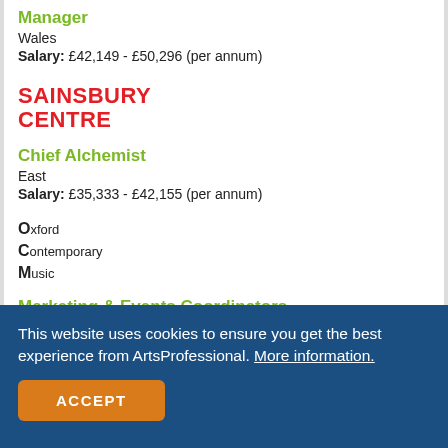Manager
Wales
Salary: £42,149 - £50,296 (per annum)
[Figure (logo): Sainsbury Centre logo in red bold text, two lines: SAINSBURY / CENTRE]
Chief Alchemist
East
Salary: £35,333 - £42,155 (per annum)
[Figure (logo): Oxford Contemporary Music (OCM) logo in black text with large O, C, M letters on left]
Marketing & Events Coordinators
This website uses cookies to ensure you get the best experience from ArtsProfessional. More information.
ACCEPT